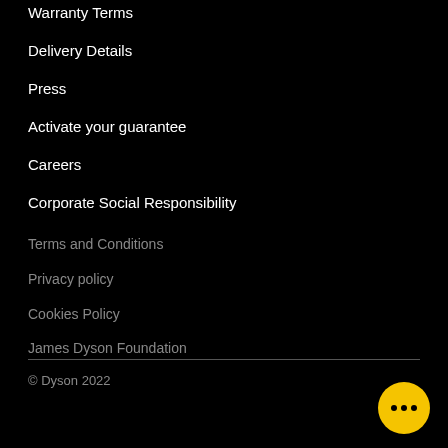Warranty Terms
Delivery Details
Press
Activate your guarantee
Careers
Corporate Social Responsibility
Terms and Conditions
Privacy policy
Cookies Policy
James Dyson Foundation
© Dyson 2022